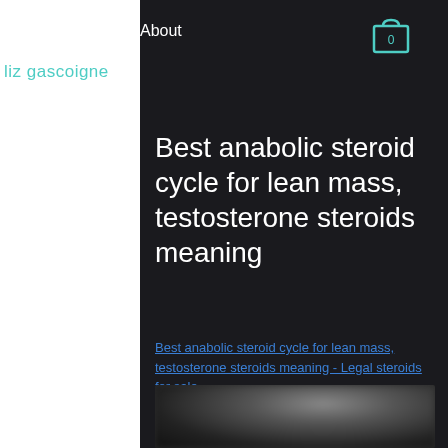liz gascoigne
About
Best anabolic steroid cycle for lean mass, testosterone steroids meaning
Best anabolic steroid cycle for lean mass, testosterone steroids meaning - Legal steroids for sale
[Figure (photo): Blurred image at bottom of page, dark background with indistinct figure]